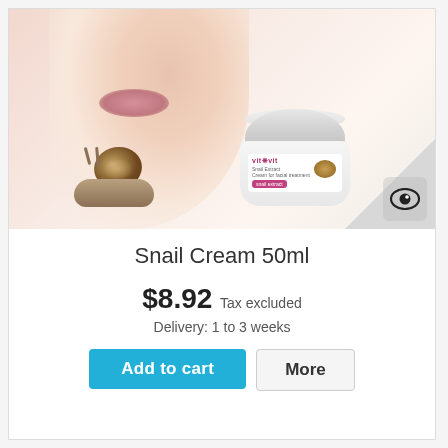[Figure (photo): Product photo of Vit Vit Snail Cream 50ml jar with a woman's face and a snail in the foreground on a peach/cream background.]
Snail Cream 50ml
$8.92 Tax excluded
Delivery: 1 to 3 weeks
Add to cart
More